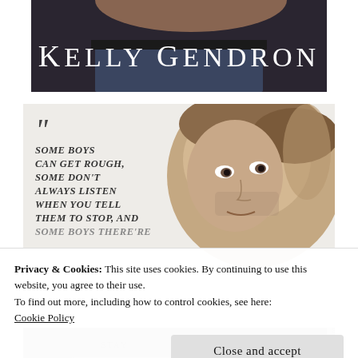[Figure (photo): Book cover top portion showing 'Kelly Gendron' author name in white serif text over a dark background with a tattooed torso and jeans]
[Figure (photo): Book promotional image showing a man's face with stubble and messy hair, with quote text overlay: '"Some boys can get rough, some don't always listen when you tell them to stop, and some boys...' in italic bold uppercase serif font]
Privacy & Cookies: This site uses cookies. By continuing to use this website, you agree to their use.
To find out more, including how to control cookies, see here:
Cookie Policy
Close and accept